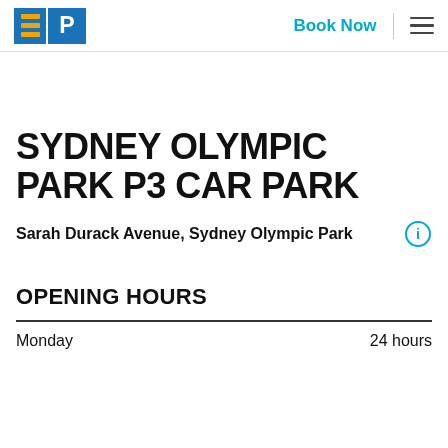Book Now
SYDNEY OLYMPIC PARK P3 CAR PARK
Sarah Durack Avenue, Sydney Olympic Park
OPENING HOURS
| Day | Hours |
| --- | --- |
| Monday | 24 hours |